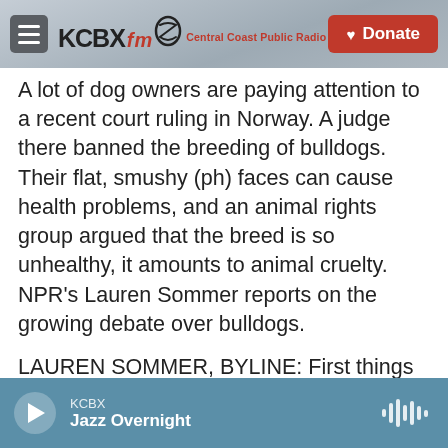KCBX FM Central Coast Public Radio | Donate
A lot of dog owners are paying attention to a recent court ruling in Norway. A judge there banned the breeding of bulldogs. Their flat, smushy (ph) faces can cause health problems, and an animal rights group argued that the breed is so unhealthy, it amounts to animal cruelty. NPR's Lauren Sommer reports on the growing debate over bulldogs.
LAUREN SOMMER, BYLINE: First things first, let's meet the dogs.
(SOUNDBITE OF DOG BARKING)
COLLEEN THILGEN: This is Rudy. Can you say hi?
KCBX Jazz Overnight